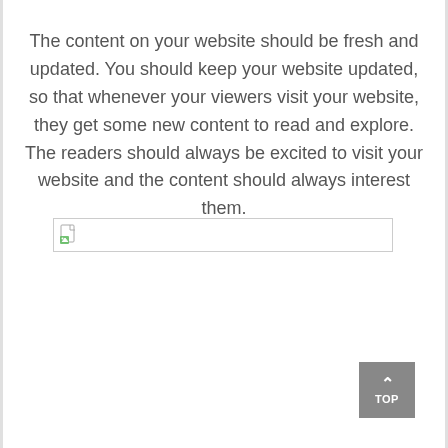The content on your website should be fresh and updated. You should keep your website updated, so that whenever your viewers visit your website, they get some new content to read and explore. The readers should always be excited to visit your website and the content should always interest them.
[Figure (other): Broken/missing image placeholder with small document icon on the left and a wide empty rectangle outline]